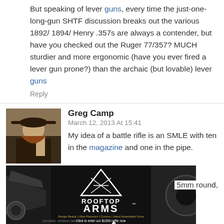But speaking of lever guns, every time the just-one-long-gun SHTF discussion breaks out the various 1892/ 1894/ Henry .357s are always a contender, but have you checked out the Ruger 77/357? MUCH sturdier and more ergonomic (have you ever fired a lever gun prone?) than the archaic (but lovable) lever guns
Reply
Greg Camp
March 12, 2013 At 15:41
My idea of a battle rifle is an SMLE with ten in the magazine and one in the pipe.
5mm round,
[Figure (photo): Rooftop Arms advertisement banner showing firearms with text 'ROOFTOP ARMS' and 'Range Ready | Ultra Premium | Custom | Hand Assembled Guns' and 'Click to enter our $1000 raffle now']